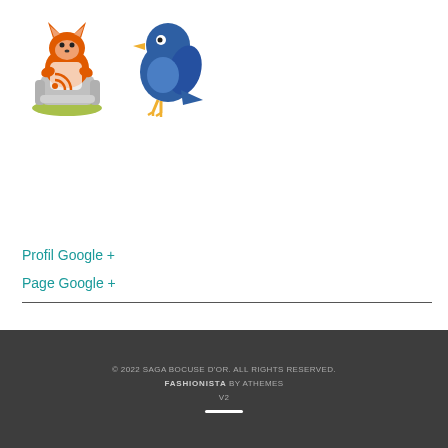[Figure (illustration): RSS fox mascot icon and Twitter blue bird icon side by side]
Profil Google +
Page Google +
[Figure (logo): Paperblog logo in blue and dark blue text]
© 2022 SAGA BOCUSE D'OR. ALL RIGHTS RESERVED. FASHIONISTA BY ATHEMES V2